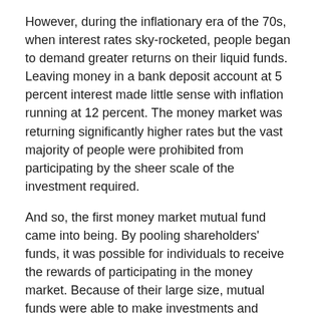However, during the inflationary era of the 70s, when interest rates sky-rocketed, people began to demand greater returns on their liquid funds. Leaving money in a bank deposit account at 5 percent interest made little sense with inflation running at 12 percent. The money market was returning significantly higher rates but the vast majority of people were prohibited from participating by the sheer scale of the investment required.
And so, the first money market mutual fund came into being. By pooling shareholders' funds, it was possible for individuals to receive the rewards of participating in the money market. Because of their large size, mutual funds were able to make investments and receive rates of return that individual investors couldn't get on their own.
Money market mutual funds typically purchase highly liquid investments with varying maturities, so there is cash flow to meet investor demand to redeem shares. You can withdraw your money at any time.